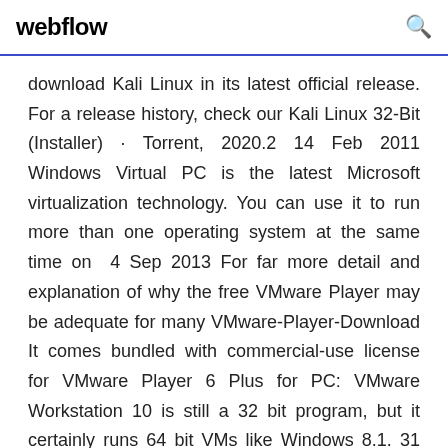webflow
download Kali Linux in its latest official release. For a release history, check our Kali Linux 32-Bit (Installer) · Torrent, 2020.2 14 Feb 2011 Windows Virtual PC is the latest Microsoft virtualization technology. You can use it to run more than one operating system at the same time on  4 Sep 2013 For far more detail and explanation of why the free VMware Player may be adequate for many VMware-Player-Download It comes bundled with commercial-use license for VMware Player 6 Plus for PC: VMware Workstation 10 is still a 32 bit program, but it certainly runs 64 bit VMs like Windows 8.1. 31 Oct 2014 Download VMware Player 6.0.4 Build 2249910 for Windows PC from FileHorse. 100%